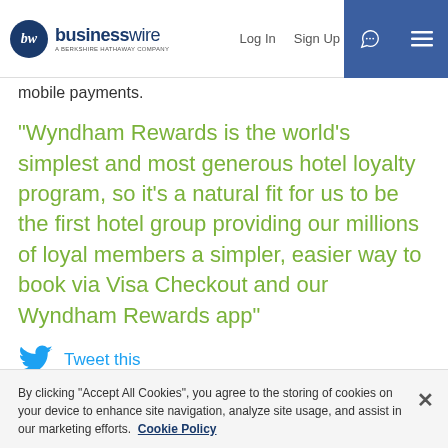businesswire — A BERKSHIRE HATHAWAY COMPANY | Log In | Sign Up
mobile payments.
“Wyndham Rewards is the world’s simplest and most generous hotel loyalty program, so it’s a natural fit for us to be the first hotel group providing our millions of loyal members a simpler, easier way to book via Visa Checkout and our Wyndham Rewards app”
Tweet this
“The entire retail industry is changing – and we’re partnering with Visa to ensure we are offering the best payment options for our
By clicking “Accept All Cookies”, you agree to the storing of cookies on your device to enhance site navigation, analyze site usage, and assist in our marketing efforts. Cookie Policy